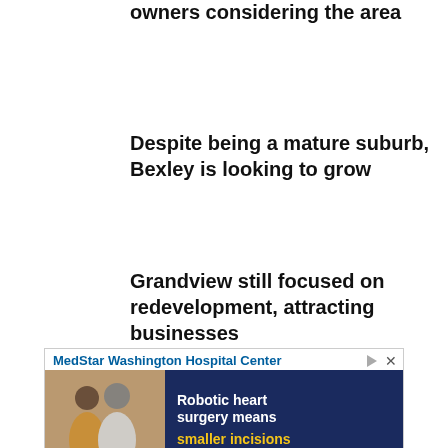owners considering the area
Despite being a mature suburb, Bexley is looking to grow
Grandview still focused on redevelopment, attracting businesses
[Figure (other): Navigation previous/next arrow buttons]
[Figure (other): Advertisement for MedStar Washington Hospital Center featuring robotic heart surgery with text 'Robotic heart surgery means smaller incisions']